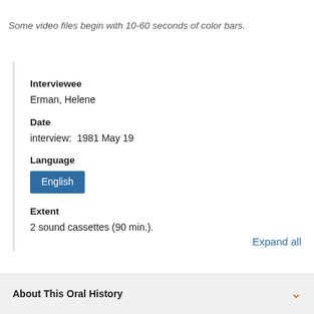Some video files begin with 10-60 seconds of color bars.
Interviewee
Erman, Helene
Date
interview:  1981 May 19
Language
English
Extent
2 sound cassettes (90 min.).
Expand all
About This Oral History